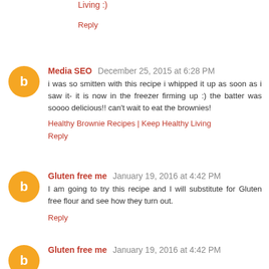Living :)
Reply
Media SEO  December 25, 2015 at 6:28 PM
i was so smitten with this recipe i whipped it up as soon as i saw it- it is now in the freezer firming up :) the batter was soooo delicious!! can't wait to eat the brownies!
Healthy Brownie Recipes | Keep Healthy Living
Reply
Gluten free me  January 19, 2016 at 4:42 PM
I am going to try this recipe and I will substitute for Gluten free flour and see how they turn out.
Reply
Gluten free me  January 19, 2016 at 4:42 PM